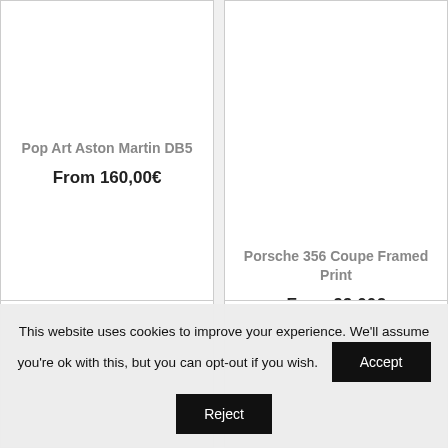Pop Art Aston Martin DB5
From 160,00€
Porsche 356 Coupe Framed Print
From 99,00€
This website uses cookies to improve your experience. We'll assume you're ok with this, but you can opt-out if you wish.
Accept
Reject